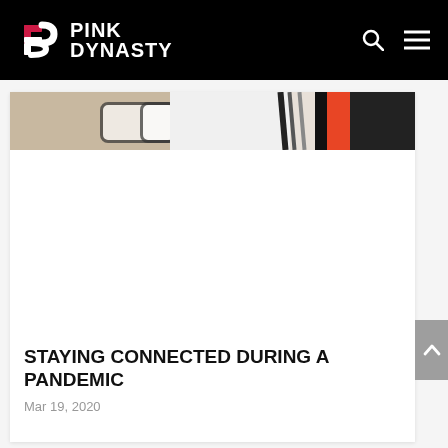PINK DYNASTY
[Figure (photo): Partial cropped photo showing books or notebooks with red, black, and white colors visible at the top of an article card]
STAYING CONNECTED DURING A PANDEMIC
Mar 19, 2020